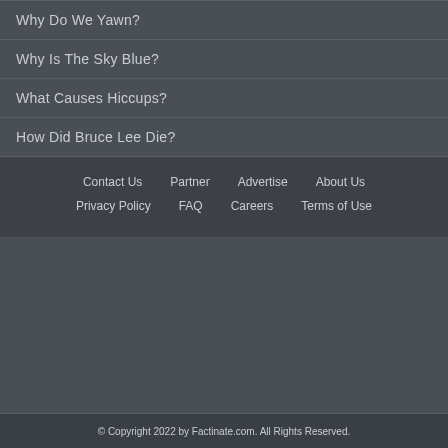Why Do We Yawn?
Why Is The Sky Blue?
What Causes Hiccups?
How Did Bruce Lee Die?
Contact Us  Partner  Advertise  About Us  Privacy Policy  FAQ  Careers  Terms of Use
© Copyright 2022 by Factinate.com. All Rights Reserved.